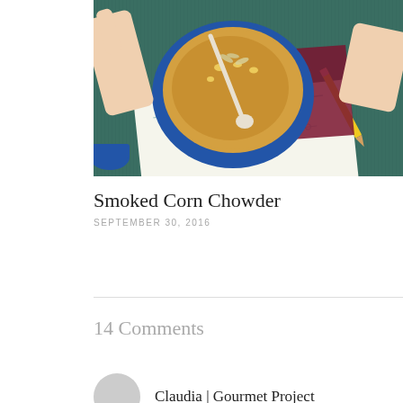[Figure (photo): Overhead photo of a bowl of smoked corn chowder with seeds/toppings on top, held by hands, with a map and pencil on a teal wooden table]
Smoked Corn Chowder
SEPTEMBER 30, 2016
14 Comments
Claudia | Gourmet Project